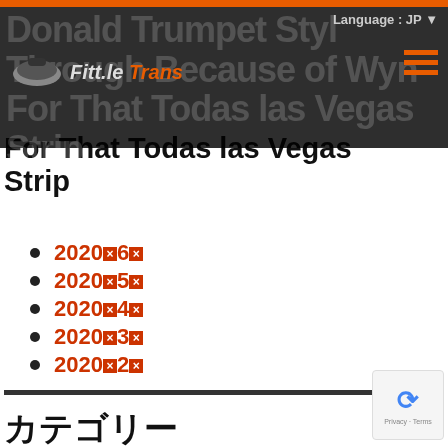Donald Trumpet Style Through Because of Wynn For That Todas las Vegas Strip
For That Todas las Vegas Strip
2020年6月
2020年5月
2020年4月
2020年3月
2020年2月
2020年1月
2019年12月
2019年4月
2018年9月
カテゴリー